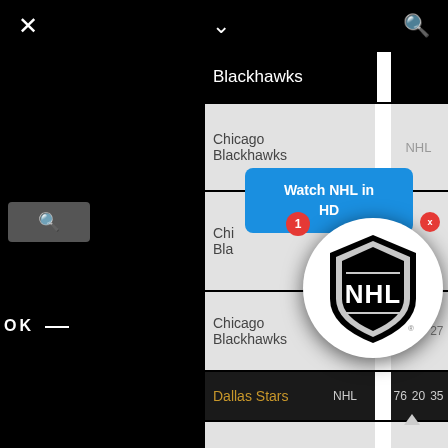[Figure (screenshot): Mobile app screenshot showing NHL sports data with Chicago Blackhawks and Dallas Stars rows, a blue 'Watch NHL in HD' popup tooltip, an NHL shield logo circle with notification badge, and navigation icons (close X, chevron down, search).]
Blackhawks
Chicago Blackhawks | NHL
Chicago Blackhawks | NHL | Watch NHL in HD
Chicago Blackhawks | NHL | 68 | 15 | 27
Dallas Stars | NHL | 76 | 20 | 35
Dallas Stars | NHL | 48 | 8 | 10